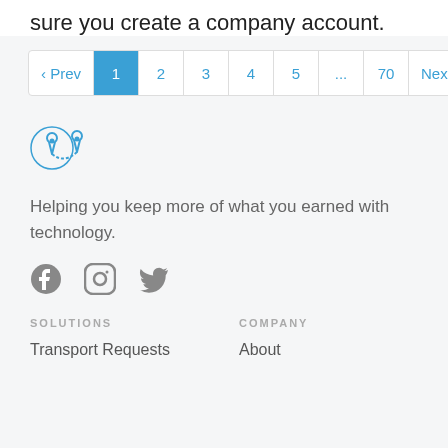sure you create a company account.
[Figure (other): Pagination bar showing Prev, 1 (active/highlighted), 2, 3, 4, 5, ..., 70, Next]
[Figure (logo): Location/map icon logo with two pin markers connected by a path]
Helping you keep more of what you earned with technology.
[Figure (other): Social media icons: Facebook, Instagram, Twitter]
SOLUTIONS
COMPANY
Transport Requests
About